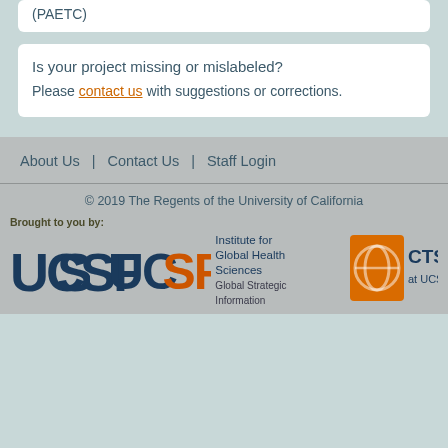(PAETC)
Is your project missing or mislabeled?
Please contact us with suggestions or corrections.
About Us | Contact Us | Staff Login
© 2019 The Regents of the University of California
Brought to you by:
[Figure (logo): UCSF Institute for Global Health Sciences Global Strategic Information logo]
[Figure (logo): CTSI at UCSF logo]